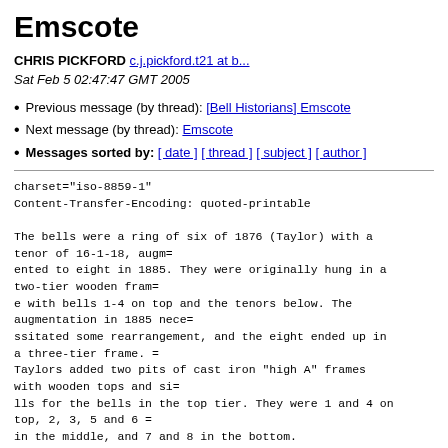Emscote
CHRIS PICKFORD c.j.pickford.t21 at b...
Sat Feb 5 02:47:47 GMT 2005
Previous message (by thread): [Bell Historians] Emscote
Next message (by thread): Emscote
Messages sorted by: [ date ] [ thread ] [ subject ] [ author ]
charset="iso-8859-1"
Content-Transfer-Encoding: quoted-printable

The bells were a ring of six of 1876 (Taylor) with a tenor of 16-1-18, augm=
ented to eight in 1885. They were originally hung in a two-tier wooden fram=
e with bells 1-4 on top and the tenors below. The augmentation in 1885 nece=
ssitated some rearrangement, and the eight ended up in a three-tier frame. =
Taylors added two pits of cast iron "high A" frames with wooden tops and si=
lls for the bells in the top tier. They were 1 and 4 on top, 2, 3, 5 and 6 =
in the middle, and 7 and 8 in the bottom.